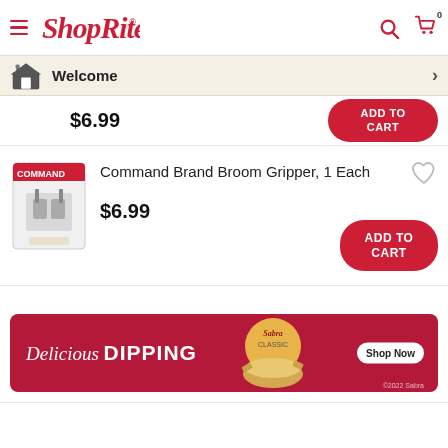ShopRite
Welcome
$6.99  ADD TO CART
Command Brand Broom Gripper, 1 Each  $6.99  ADD TO CART
[Figure (infographic): Sabra Delicious Dipping advertisement banner with red background, showing Sabra hummus product and Shop Now button. Text: Delicious DIPPING ©2022 Sabra]